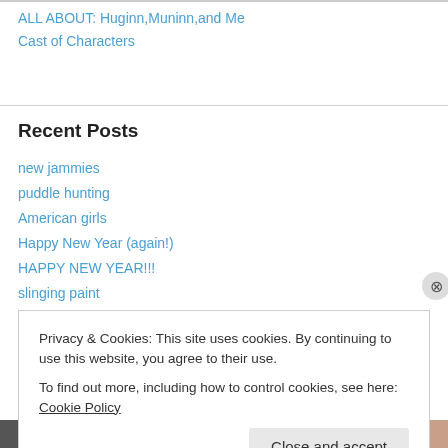ALL ABOUT: Huginn,Muninn,and Me
Cast of Characters
Recent Posts
new jammies
puddle hunting
American girls
Happy New Year (again!)
HAPPY NEW YEAR!!!
slinging paint
Privacy & Cookies: This site uses cookies. By continuing to use this website, you agree to their use.
To find out more, including how to control cookies, see here: Cookie Policy
Close and accept